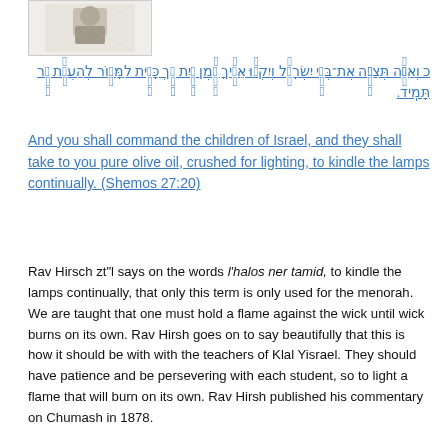[Figure (illustration): Small black and white portrait/illustration in a rectangular frame]
כ וְאַתָּה תְּצַוֶּה אֶת-בְּנֵי יִשְׂרָאֵל וְיִקְחוּ אֵלֶיךָ שֶׁמֶן זַיִת זָךְ כָּתִית לַמָּאוֹר לְהַעֲלֹת נֵר תָּמִיד.
And you shall command the children of Israel, and they shall take to you pure olive oil, crushed for lighting, to kindle the lamps continually. (Shemos 27:20)
Rav Hirsch zt"l says on the words l'halos ner tamid, to kindle the lamps continually, that only this term is only used for the menorah. We are taught that one must hold a flame against the wick until wick burns on its own. Rav Hirsh goes on to say beautifully that this is how it should be with with the teachers of Klal Yisrael. They should have patience and be persevering with each student, so to light a flame that will burn on its own. Rav Hirsh published his commentary on Chumash in 1878.